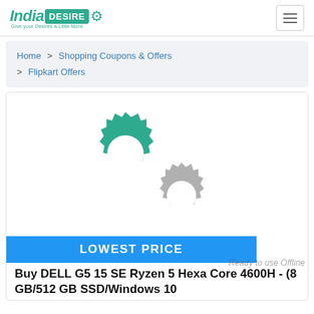[Figure (logo): India Desire logo with gear icon and tagline 'Give your Desires a Little More']
Navigation hamburger menu button
Home > Shopping Coupons & Offers > Flipkart Offers
[Figure (illustration): Two interlocking gear icons, one green and one grey, on a white card background]
LOWEST PRICE
Ready to use Offline
Buy DELL G5 15 SE Ryzen 5 Hexa Core 4600H - (8 GB/512 GB SSD/Windows 10